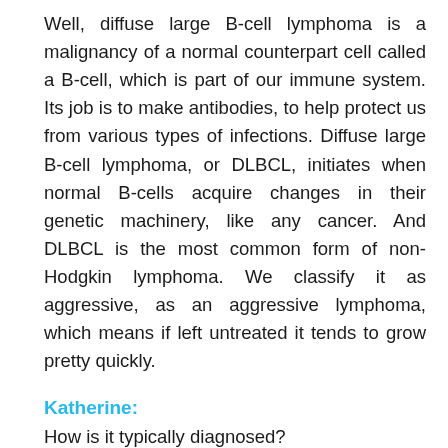Well, diffuse large B-cell lymphoma is a malignancy of a normal counterpart cell called a B-cell, which is part of our immune system. Its job is to make antibodies, to help protect us from various types of infections. Diffuse large B-cell lymphoma, or DLBCL, initiates when normal B-cells acquire changes in their genetic machinery, like any cancer. And DLBCL is the most common form of non-Hodgkin lymphoma. We classify it as aggressive, as an aggressive lymphoma, which means if left untreated it tends to grow pretty quickly.
Katherine:
How is it typically diagnosed?